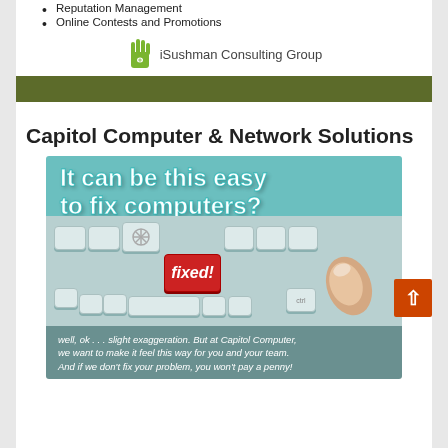Reputation Management
Online Contests and Promotions
[Figure (logo): iSushman Consulting Group logo with green hand icon]
Capitol Computer & Network Solutions
[Figure (infographic): Advertisement for Capitol Computer & Network Solutions. Top teal section with text 'It can be this easy to fix computers?' over keyboard image with red 'fixed!' key and finger pressing. Bottom teal section with text: 'well, ok . . . slight exaggeration. But at Capitol Computer, we want to make it feel this way for you and your team. And if we don't fix your problem, you won't pay a penny!']